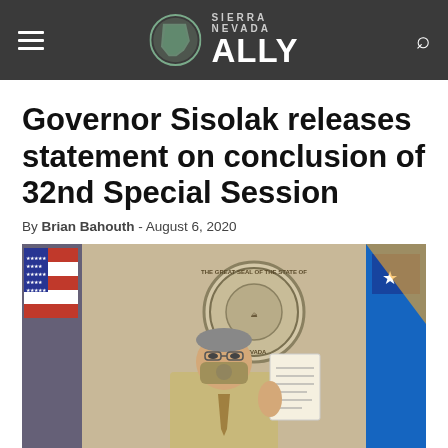Sierra Nevada Ally
Governor Sisolak releases statement on conclusion of 32nd Special Session
By Brian Bahouth - August 6, 2020
[Figure (photo): Governor Sisolak seated at a desk, wearing a face mask with the Nevada state seal, holding up a document. Behind him is an American flag, the Nevada state flag, and the Great Seal of the State of Nevada mounted on a tan wall.]